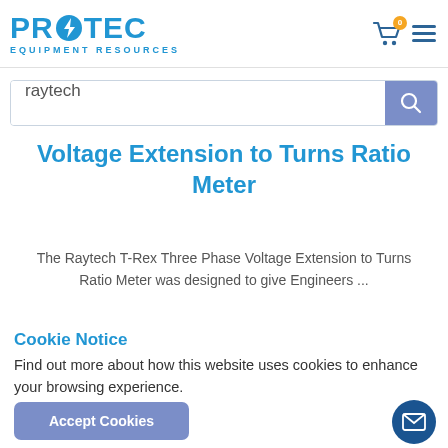PROTEC EQUIPMENT RESOURCES
raytech
Voltage Extension to Turns Ratio Meter
The Raytech T-Rex Three Phase Voltage Extension to Turns Ratio Meter was designed to give Engineers ...
Cookie Notice
Find out more about how this website uses cookies to enhance your browsing experience.
Accept Cookies